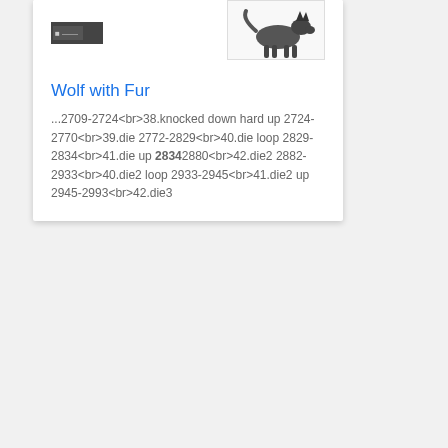[Figure (photo): Small dark thumbnail image of a wolf, and a larger image of a wolf with fur walking]
Wolf with Fur
...2709-2724<br>38.knocked down hard up 2724-2770<br>39.die 2772-2829<br>40.die loop 2829-2834<br>41.die up 28342880<br>42.die2 2882-2933<br>40.die2 loop 2933-2945<br>41.die2 up 2945-2993<br>42.die3